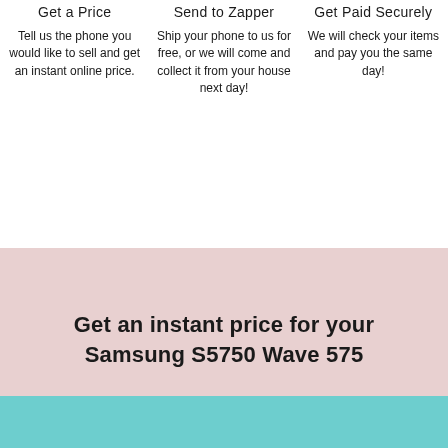Get a Price
Tell us the phone you would like to sell and get an instant online price.
Send to Zapper
Ship your phone to us for free, or we will come and collect it from your house next day!
Get Paid Securely
We will check your items and pay you the same day!
[Figure (illustration): Decorative wavy background with layered pink/rose shapes transitioning from white to pink]
Get an instant price for your Samsung S5750 Wave 575